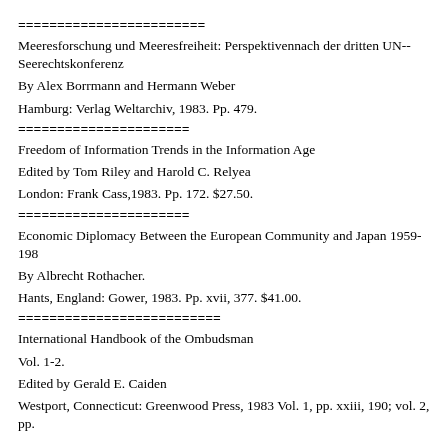========================
Meeresforschung und Meeresfreiheit: Perspektivennach der dritten UN-- Seerechtskonferenz
By Alex Borrmann and Hermann Weber
Hamburg: Verlag Weltarchiv, 1983. Pp. 479.
======================
Freedom of Information Trends in the Information Age
Edited by Tom Riley and Harold C. Relyea
London: Frank Cass,1983. Pp. 172. $27.50.
======================
Economic Diplomacy Between the European Community and Japan 1959-198
By Albrecht Rothacher.
Hants, England: Gower, 1983. Pp. xvii, 377. $41.00.
==========================
International Handbook of the Ombudsman
Vol. 1-2.
Edited by Gerald E. Caiden
Westport, Connecticut: Greenwood Press, 1983 Vol. 1, pp. xxiii, 190; vol. 2, pp.